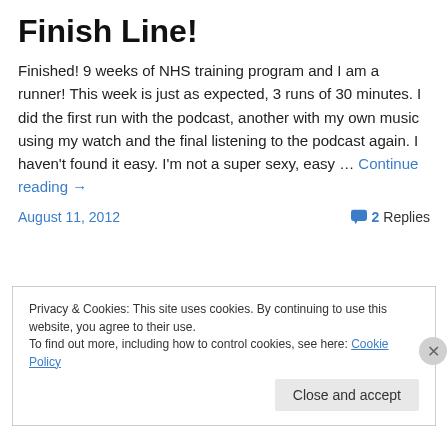Finish Line!
Finished! 9 weeks of NHS training program and I am a runner! This week is just as expected, 3 runs of 30 minutes. I did the first run with the podcast, another with my own music using my watch and the final listening to the podcast again. I haven't found it easy. I'm not a super sexy, easy … Continue reading →
August 11, 2012   2 Replies
Privacy & Cookies: This site uses cookies. By continuing to use this website, you agree to their use. To find out more, including how to control cookies, see here: Cookie Policy
Close and accept